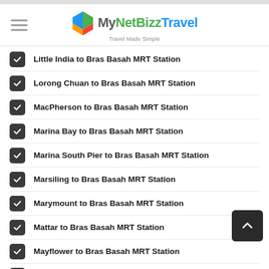MyNetBizz Travel — Travel Made Simple
Little India to Bras Basah MRT Station
Lorong Chuan to Bras Basah MRT Station
MacPherson to Bras Basah MRT Station
Marina Bay to Bras Basah MRT Station
Marina South Pier to Bras Basah MRT Station
Marsiling to Bras Basah MRT Station
Marymount to Bras Basah MRT Station
Mattar to Bras Basah MRT Station
Mayflower to Bras Basah MRT Station
Mountbatten to Bras Basah MRT Station
Newton to Bras Basah MRT Station